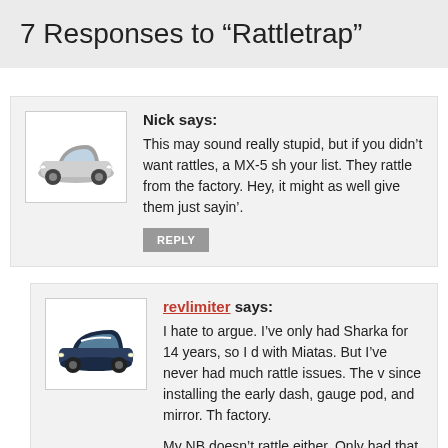7 Responses to “Rattletrap”
Nick says:
This may sound really stupid, but if you didn’t want rattles, a MX-5 sh your list. They rattle from the factory. Hey, it might as well give them just sayin’.
revlimiter says:
I hate to argue. I’ve only had Sharka for 14 years, so I d with Miatas. But I’ve never had much rattle issues. The v since installing the early dash, gauge pod, and mirror. Th factory.

My NB doesn’t rattle either. Only had that one for 10 yea

Maybe I got two lemons.